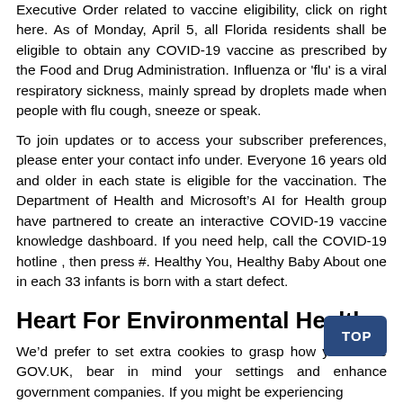Executive Order related to vaccine eligibility, click on right here. As of Monday, April 5, all Florida residents shall be eligible to obtain any COVID-19 vaccine as prescribed by the Food and Drug Administration. Influenza or 'flu' is a viral respiratory sickness, mainly spread by droplets made when people with flu cough, sneeze or speak.
To join updates or to access your subscriber preferences, please enter your contact info under. Everyone 16 years old and older in each state is eligible for the vaccination. The Department of Health and Microsoft’s AI for Health group have partnered to create an interactive COVID-19 vaccine knowledge dashboard. If you need help, call the COVID-19 hotline , then press #. Healthy You, Healthy Baby About one in each 33 infants is born with a start defect.
Heart For Environmental Health
We’d prefer to set extra cookies to grasp how you utilize GOV.UK, bear in mind your settings and enhance government companies. If you might be experiencing